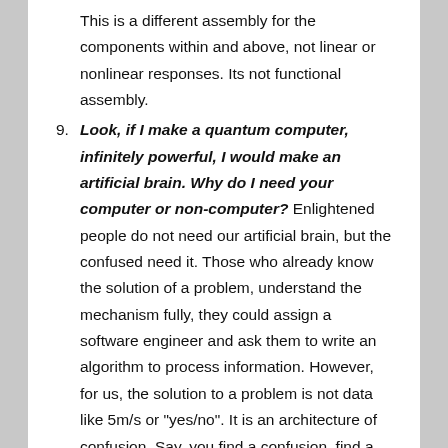This is a different assembly for the components within and above, not linear or nonlinear responses. Its not functional assembly.
9. Look, if I make a quantum computer, infinitely powerful, I would make an artificial brain. Why do I need your computer or non-computer? Enlightened people do not need our artificial brain, but the confused need it. Those who already know the solution of a problem, understand the mechanism fully, they could assign a software engineer and ask them to write an algorithm to process information. However, for us, the solution to a problem is not data like 5m/s or "yes/no". It is an architecture of confusion. Say, you find a confusion, find a few confusion inside, dig deeper and find more confusion, eventually, you would get an